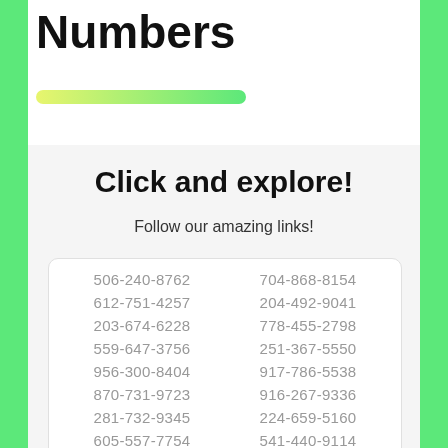Numbers
Click and explore!
Follow our amazing links!
506-240-8762
704-868-8154
612-751-4257
204-492-9041
203-674-6228
778-455-2798
559-647-3756
251-367-5550
956-300-8404
917-786-5538
870-731-9723
916-267-9336
281-732-9345
224-659-5160
605-557-7754
541-440-9114